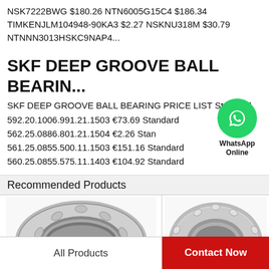NSK7222BWG $180.26 NTN6005G15C4 $186.34 TIMKENJLM104948-90KA3 $2.27 NSKNU318M $30.79 NTNNN3013HSKC9NAP4...
SKF DEEP GROOVE BALL BEARIN...
SKF DEEP GROOVE BALL BEARING PRICE LIST Standard 592.20.1006.991.21.1503 €73.69 Standard 562.25.0886.801.21.1504 €2.26 Standard 561.25.0855.500.11.1503 €151.16 Standard 560.25.0855.575.11.1403 €104.92 Standard
[Figure (logo): WhatsApp Online badge - green circular WhatsApp icon with text 'WhatsApp Online' below]
Recommended Products
[Figure (photo): Close-up photo of a tapered roller bearing, metallic, showing inner and outer rings]
[Figure (photo): Close-up photo of a cylindrical roller bearing, metallic, showing inner and outer rings]
All Products
Contact Now